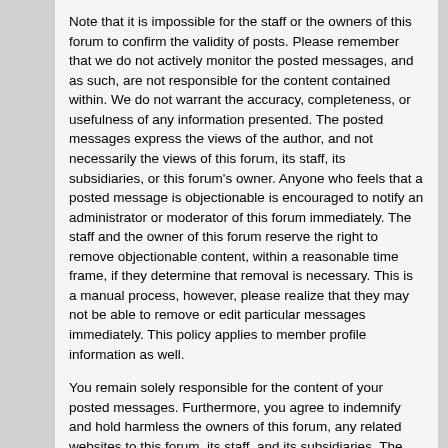Note that it is impossible for the staff or the owners of this forum to confirm the validity of posts. Please remember that we do not actively monitor the posted messages, and as such, are not responsible for the content contained within. We do not warrant the accuracy, completeness, or usefulness of any information presented. The posted messages express the views of the author, and not necessarily the views of this forum, its staff, its subsidiaries, or this forum's owner. Anyone who feels that a posted message is objectionable is encouraged to notify an administrator or moderator of this forum immediately. The staff and the owner of this forum reserve the right to remove objectionable content, within a reasonable time frame, if they determine that removal is necessary. This is a manual process, however, please realize that they may not be able to remove or edit particular messages immediately. This policy applies to member profile information as well.
You remain solely responsible for the content of your posted messages. Furthermore, you agree to indemnify and hold harmless the owners of this forum, any related websites to this forum, its staff, and its subsidiaries. The owners of this forum also reserve the right to reveal your identity (or any other related information collected on this service) in the event of a formal complaint or legal action arising from any situation caused by your use of this forum.
You have the ability, as you register, to choose your username. We advise that you keep the name appropriate. With this user account you are about to register, you agree to never give your password out to another person except an administrator, for your protection and for validity reasons. You also agree to NEVER use another person's account for any reason. We also HIGHLY